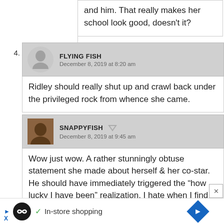and him. That really makes her school look good, doesn't it?
FLYING FISH
December 8, 2019 at 8:20 am
Ridley should really shut up and crawl back under the privileged rock from whence she came.
SNAPPYFISH
December 8, 2019 at 9:45 am
Wow just wow. A rather stunningly obtuse statement she made about herself & her co-star. He should have immediately triggered the “how lucky I have been” realization. I hate when I find out someone I liked was a vapid ill informed creature.
In-store shopping